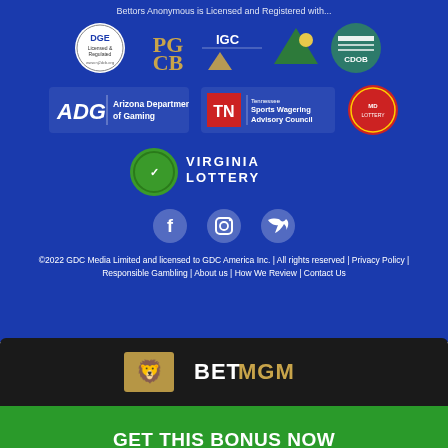Bettors Anonymous is Licensed and Registered with...
[Figure (logo): Row of gambling regulatory authority logos: DGE Licensed & Regulated, PGCB, IGC Indiana, Colorado mountain logo, CDOB]
[Figure (logo): Row of logos: ADG Arizona Department of Gaming, TN Sports Wagering Advisory Council, Maryland Lottery]
[Figure (logo): Virginia Lottery logo]
[Figure (illustration): Social media icons: Facebook, Instagram, Twitter]
©2022 GDC Media Limited and licensed to GDC America Inc. | All rights reserved | Privacy Policy | Responsible Gambling | About us | How We Review | Contact Us
[Figure (logo): BetMGM logo on dark background]
GET THIS BONUS NOW
just sign up